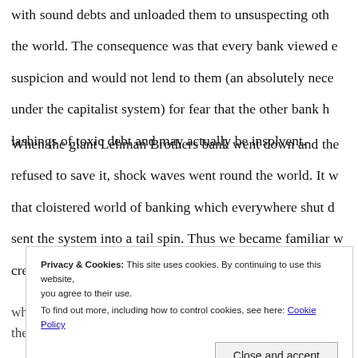with sound debts and unloaded them to unsuspecting others around the world. The consequence was that every bank viewed each other with suspicion and would not lend to them (an absolutely necessary function under the capitalist system) for fear that the other bank had lashings of toxic debt and may actually be insolvent.
When the giant Lehman Brothers bank went down and the US government refused to save it, shock waves went round the world. It was panic in that cloistered world of banking which everywhere shut down lending and sent the system into a tail spin. Thus we became familiar with the credit crunch.
Privacy & Cookies: This site uses cookies. By continuing to use this website, you agree to their use.
To find out more, including how to control cookies, see here: Cookie Policy
whatever else can raise hard cash. The next thing we'll be hearing is they've slapped a 'For Sale' notice on the Parthenon. Wha...